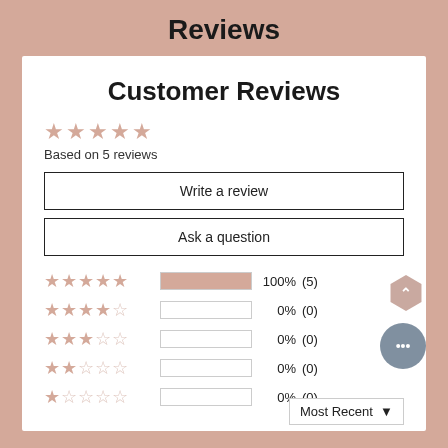Reviews
Customer Reviews
Based on 5 reviews
Write a review
Ask a question
[Figure (bar-chart): Rating distribution]
Most Recent ▼